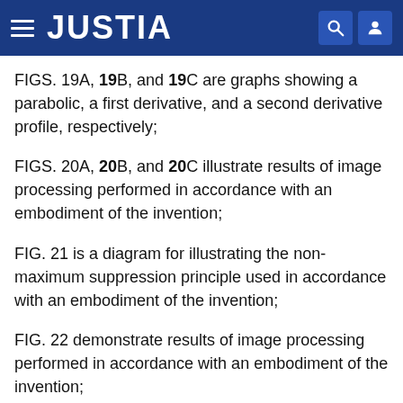JUSTIA
FIGS. 19A, 19B, and 19C are graphs showing a parabolic, a first derivative, and a second derivative profile, respectively;
FIGS. 20A, 20B, and 20C illustrate results of image processing performed in accordance with an embodiment of the invention;
FIG. 21 is a diagram for illustrating the non-maximum suppression principle used in accordance with an embodiment of the invention;
FIG. 22 demonstrate results of image processing performed in accordance with an embodiment of the invention;
FIG. 23 is a chart summarizing process time for a particular computer processor for image processing